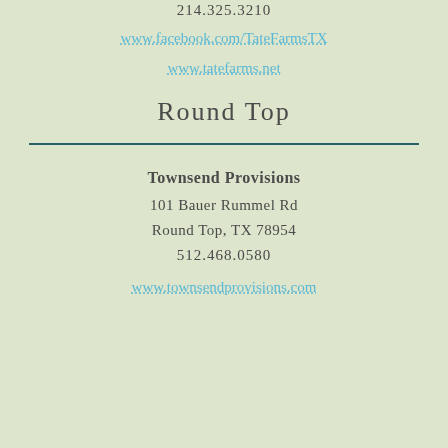214.325.3210
www.facebook.com/TateFarmsTX
www.tatefarms.net
Round Top
Townsend Provisions
101 Bauer Rummel Rd
Round Top, TX 78954
512.468.0580
www.townsendprovisions.com